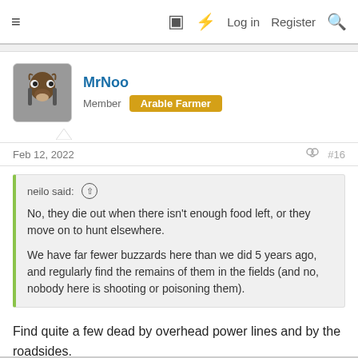≡  [book icon] [lightning icon]  Log in  Register  [search icon]
MrNoo
Member  Arable Farmer
Feb 12, 2022  #16
neilo said: ↑
No, they die out when there isn't enough food left, or they move on to hunt elsewhere.
We have far fewer buzzards here than we did 5 years ago, and regularly find the remains of them in the fields (and no, nobody here is shooting or poisoning them).
Find quite a few dead by overhead power lines and by the roadsides.
Reply